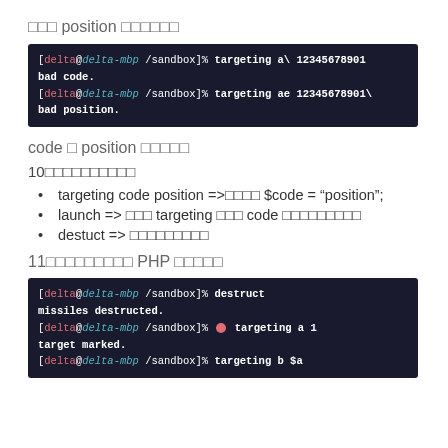□□□ position □□□□□□
[Figure (screenshot): Terminal screenshot showing: [delta@delta-mbp /sandbox]% targeting a\ 12345678901
bad code.
[delta@delta-mbp /sandbox]% targeting ae 1234567890123\
bad position.]
code □ position □□□□□
10□□□□□□□□□□
targeting code position =>□□□□ $code = "position";
launch => □□□ targeting □□□ code □□□□□□□□□
destuct => □□□□□□□□□
11□□□□□□□□□ PHP □□□□□
[Figure (screenshot): Terminal screenshot showing: [delta@delta-mbp /sandbox]% destruct
missiles destructed.
[delta@delta-mbp /sandbox]% targeting a 1
target marked.
[delta@delta-mbp /sandbox]% targeting b $a]